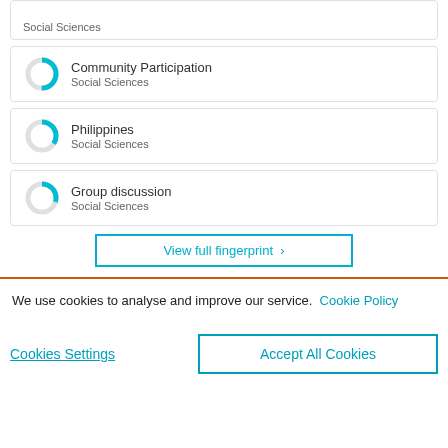Social Sciences
Community Participation
Social Sciences
Philippines
Social Sciences
Group discussion
Social Sciences
View full fingerprint >
We use cookies to analyse and improve our service. Cookie Policy
Cookies Settings
Accept All Cookies